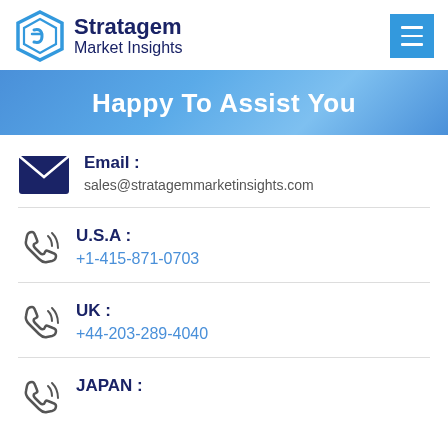Stratagem Market Insights
Happy To Assist You
Email : sales@stratagemmarketinsights.com
U.S.A : +1-415-871-0703
UK : +44-203-289-4040
JAPAN :